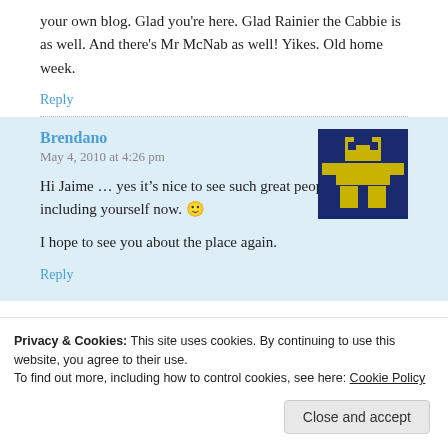your own blog. Glad you’re here. Glad Rainier the Cabbie is as well. And there’s Mr McNab as well! Yikes. Old home week.
Reply
Brendano
May 4, 2010 at 4:26 pm
[Figure (illustration): Pixel art avatar with blue background and gold/yellow figure]
Hi Jaime … yes it’s nice to see such great people here, including yourself now. 🙂
I hope to see you about the place again.
Reply
Privacy & Cookies: This site uses cookies. By continuing to use this website, you agree to their use.
To find out more, including how to control cookies, see here: Cookie Policy
Close and accept